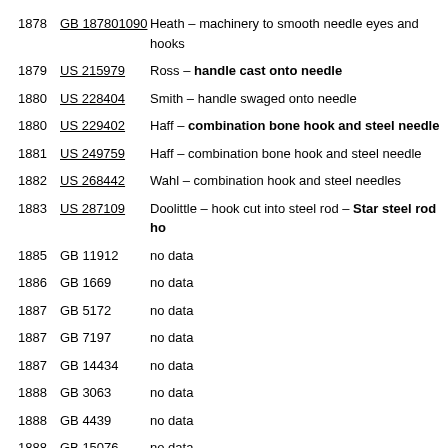1878  GB 187801090  Heath – machinery to smooth needle eyes and hooks
1879  US 215979  Ross – handle cast onto needle
1880  US 228404  Smith – handle swaged onto needle
1880  US 229402  Haff – combination bone hook and steel needle
1881  US 249759  Haff – combination bone hook and steel needle
1882  US 268442  Wahl – combination hook and steel needles
1883  US 287109  Doolittle – hook cut into steel rod – Star steel rod ho
1885  GB 11912  no data
1886  GB 1669  no data
1887  GB 5172  no data
1887  GB 7197  no data
1887  GB 14434  no data
1888  GB 3063  no data
1888  GB 4439  no data
1888  GB 15076  no data
1888  GB 15372  no data